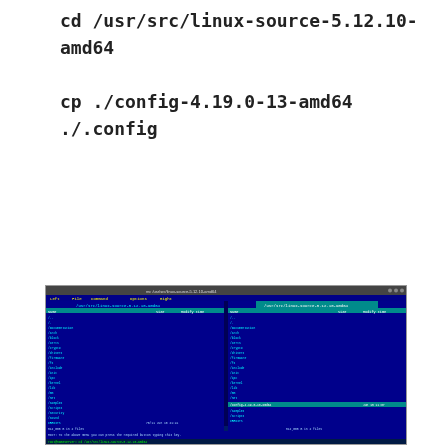cd /usr/src/linux-source-5.12.10-amd64

cp ./config-4.19.0-13-amd64 ./.config
[Figure (screenshot): Terminal window (mc/Midnight Commander style) showing a two-pane file manager view of a Linux kernel source directory. The directory listing shows files such as Documentation, arch, block, certs, crypto, drivers, fs, include, init, ipc, kernel, lib, mm, net, samples, scripts, security, sound, tools, usr, virt, .clang-format, .cocciconfig, .get_maintainer.ignore, .gitattributes, .gitignore, .mailmap, COPYING, CREDITS, Kbuild, Kconfig, LICENSES, MAINTAINERS, Makefile, README, and kernel source files. At the bottom is a command prompt and tab bar.]